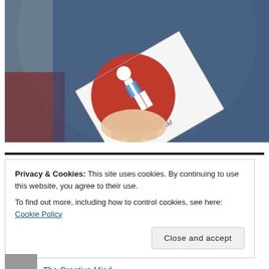[Figure (photo): A person wearing a blue ribbed sweater holds up a book with a red and white cover showing an illustrated figure in a white suit with a red heart shape background. The author name 'Petra Kidd' is visible on the book cover.]
Privacy & Cookies: This site uses cookies. By continuing to use this website, you agree to their use.
To find out more, including how to control cookies, see here: Cookie Policy
Close and accept
The Creative Mind